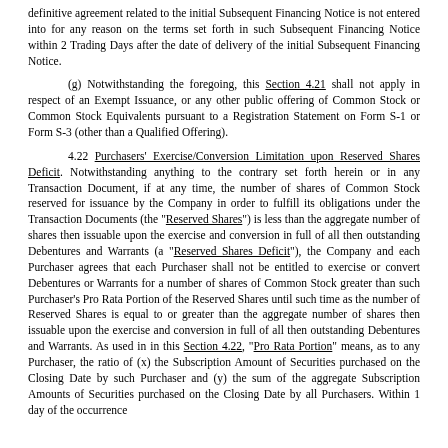definitive agreement related to the initial Subsequent Financing Notice is not entered into for any reason on the terms set forth in such Subsequent Financing Notice within 2 Trading Days after the date of delivery of the initial Subsequent Financing Notice.
(g) Notwithstanding the foregoing, this Section 4.21 shall not apply in respect of an Exempt Issuance, or any other public offering of Common Stock or Common Stock Equivalents pursuant to a Registration Statement on Form S-1 or Form S-3 (other than a Qualified Offering).
4.22 Purchasers' Exercise/Conversion Limitation upon Reserved Shares Deficit. Notwithstanding anything to the contrary set forth herein or in any Transaction Document, if at any time, the number of shares of Common Stock reserved for issuance by the Company in order to fulfill its obligations under the Transaction Documents (the "Reserved Shares") is less than the aggregate number of shares then issuable upon the exercise and conversion in full of all then outstanding Debentures and Warrants (a "Reserved Shares Deficit"), the Company and each Purchaser agrees that each Purchaser shall not be entitled to exercise or convert Debentures or Warrants for a number of shares of Common Stock greater than such Purchaser's Pro Rata Portion of the Reserved Shares until such time as the number of Reserved Shares is equal to or greater than the aggregate number of shares then issuable upon the exercise and conversion in full of all then outstanding Debentures and Warrants. As used in in this Section 4.22, "Pro Rata Portion" means, as to any Purchaser, the ratio of (x) the Subscription Amount of Securities purchased on the Closing Date by such Purchaser and (y) the sum of the aggregate Subscription Amounts of Securities purchased on the Closing Date by all Purchasers. Within 1 day of the occurrence